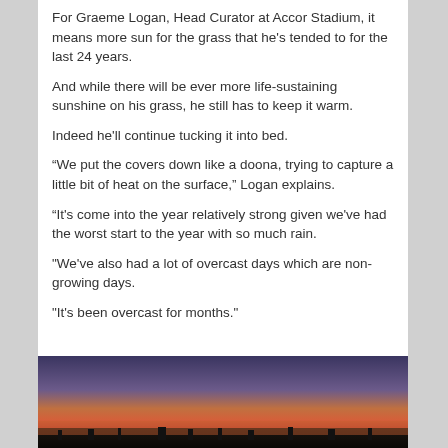For Graeme Logan, Head Curator at Accor Stadium, it means more sun for the grass that he's tended to for the last 24 years.
And while there will be ever more life-sustaining sunshine on his grass, he still has to keep it warm.
Indeed he'll continue tucking it into bed.
“We put the covers down like a doona, trying to capture a little bit of heat on the surface,” Logan explains.
“It's come into the year relatively strong given we've had the worst start to the year with so much rain.
"We've also had a lot of overcast days which are non-growing days.
"It's been overcast for months."
[Figure (photo): Dusk/sunset photo showing a stadium or landscape silhouette against a purple and orange gradient sky.]